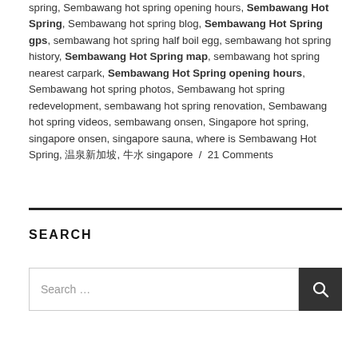spring, Sembawang hot spring opening hours, Sembawang Hot Spring, Sembawang hot spring blog, Sembawang Hot Spring gps, sembawang hot spring half boil egg, sembawang hot spring history, Sembawang Hot Spring map, sembawang hot spring nearest carpark, Sembawang Hot Spring opening hours, Sembawang hot spring photos, Sembawang hot spring redevelopment, sembawang hot spring renovation, Sembawang hot spring videos, sembawang onsen, Singapore hot spring, singapore onsen, singapore sauna, where is Sembawang Hot Spring, 温泉新加坡, 牛水 singapore / 21 Comments
SEARCH